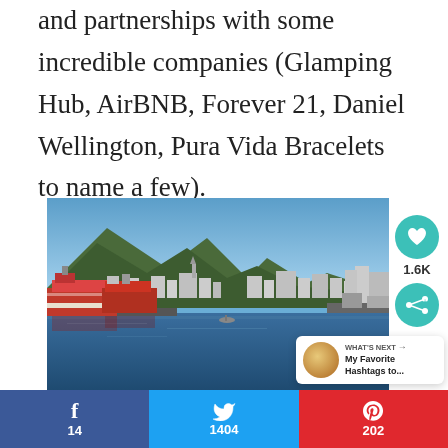and partnerships with some incredible companies (Glamping Hub, AirBNB, Forever 21, Daniel Wellington, Pura Vida Bracelets to name a few).
[Figure (photo): Panoramic harbor photo showing ships docked on the left (red and white vessels), calm blue water in the center, and a town with mountains in the background under a clear blue sky.]
1.6K
WHAT'S NEXT → My Favorite Hashtags to...
f 14
1404
202